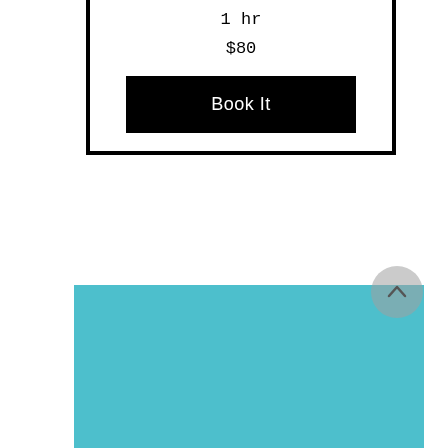1 hr
$80
Book It
[Figure (other): Teal/turquoise colored footer section at the bottom of the page]
[Figure (other): Circular back-to-top button with upward arrow chevron, semi-transparent gray background]